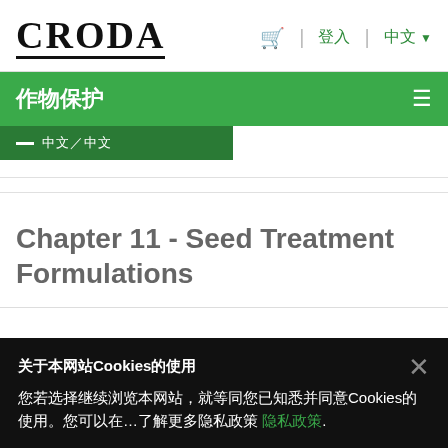CRODA — 登入 中文
作物保护
Chapter 11 - Seed Treatment Formulations
关于本网站Cookies的使用 您若选择继续浏览本网站，就等同您已知悉并同意Cookies的使用。您可以在…了解更多隐私政策 隐私政策.